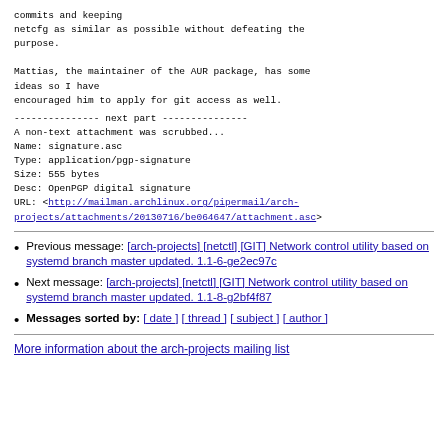commits and keeping
netcfg as similar as possible without defeating the
purpose.

Mattias, the maintainer of the AUR package, has some
ideas so I have
encouraged him to apply for git access as well.
--------------- next part ---------------
A non-text attachment was scrubbed...
Name: signature.asc
Type: application/pgp-signature
Size: 555 bytes
Desc: OpenPGP digital signature
URL: <http://mailman.archlinux.org/pipermail/arch-projects/attachments/20130716/be064647/attachment.asc>
Previous message: [arch-projects] [netctl] [GIT] Network control utility based on systemd branch master updated. 1.1-6-ge2ec97c
Next message: [arch-projects] [netctl] [GIT] Network control utility based on systemd branch master updated. 1.1-8-g2bf4f87
Messages sorted by: [ date ] [ thread ] [ subject ] [ author ]
More information about the arch-projects mailing list